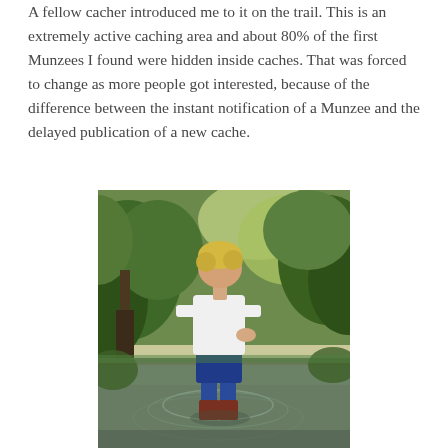A fellow cacher introduced me to it on the trail. This is an extremely active caching area and about 80% of the first Munzees I found were hidden inside caches. That was forced to change as more people got interested, because of the difference between the instant notification of a Munzee and the delayed publication of a new cache.
[Figure (photo): A person wearing a white t-shirt and blue shorts standing in water up to their calves, surrounded by green vegetation and bushes. The person appears to be looking down at the water.]